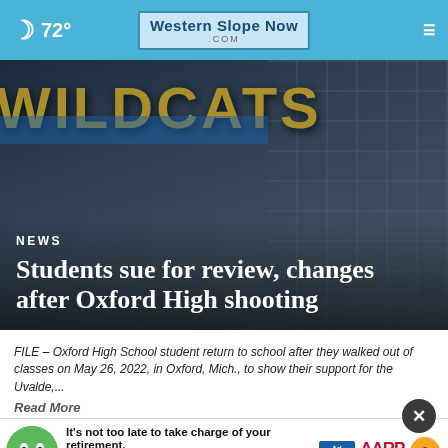72° Western Slope Now .COM
[Figure (photo): Dark background image showing a WILDCATS sign on a building exterior, partially illuminated]
NEWS
Students sue for review, changes after Oxford High shooting
FILE – Oxford High School student return to school after they walked out of classes on May 26, 2022, in Oxford, Mich., to show their support for the Uvalde,...
Read More
by: CC
Posted
Updated
[Figure (infographic): AARP advertisement banner: 'It's not too late to take charge of your retirement. Get your top 3 tips →' with Ad Council and AARP logos and an animated green character]